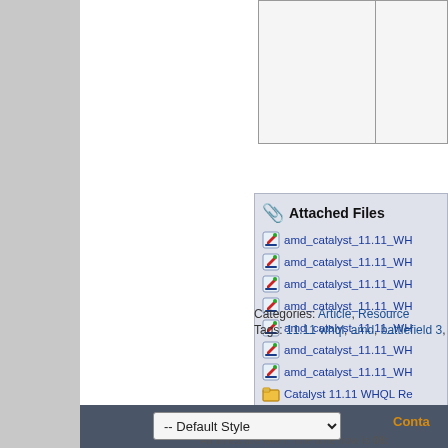[Figure (screenshot): Partial view of a web forum/download page showing a table with two cells at the top (partially visible), an 'Attached Files' panel listing multiple files named 'amd_catalyst_11.11_WH...' with edit icons and one folder icon for 'Catalyst 11.11 WHQL Re...', metadata lines for Categories (Article, Resource) and Tags (11.11 whql, amd, battlefield 3, cat...), a dark footer bar with a '-- Default Style' dropdown and 'Conta...' link, and a bottom bar with 'All times are GMT. The time now is 08:...'.]